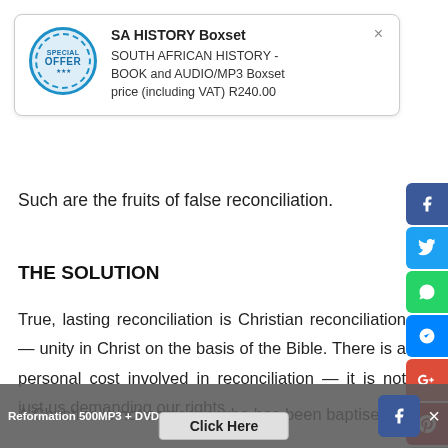[Figure (other): SA HISTORY Boxset promotional popup with offer badge, title 'SA HISTORY Boxset', description 'SOUTH AFRICAN HISTORY - BOOK and AUDIO/MP3 Boxset price (including VAT) R240.00', and a close X button]
Such are the fruits of false reconciliation.
THE SOLUTION
True, lasting reconciliation is Christian reconciliation — unity in Christ on the basis of the Bible. There is a personal cost involved in reconciliation — it is not just us demanding our rights.
A Christian is not someone who has been baptised
Reformation 500MP3 + DVDs - 4 Disc Boxset: R220.  Click Here